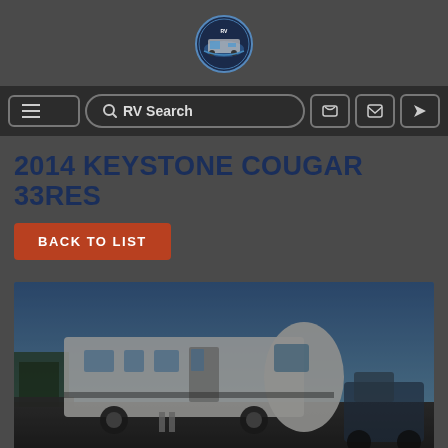[Figure (logo): Circular dealer logo with RV and mountain/water imagery]
≡  🔍 RV Search  📞  ✉  ➤
2014 KEYSTONE COUGAR 33RES
BACK TO LIST
[Figure (photo): Exterior photo of a 2014 Keystone Cougar 33RES fifth-wheel RV parked outdoors against a blue sky]